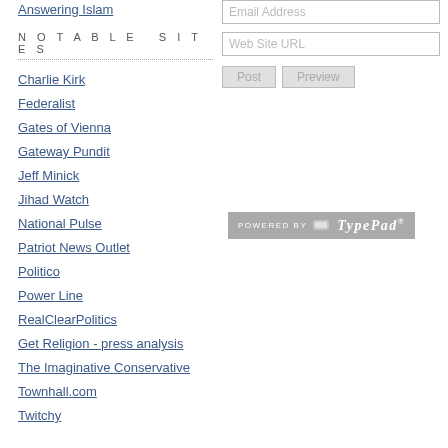Answering Islam
NOTABLE SITES
Charlie Kirk
Federalist
Gates of Vienna
Gateway Pundit
Jeff Minick
Jihad Watch
National Pulse
Patriot News Outlet
Politico
Power Line
RealClearPolitics
Get Religion - press analysis
The Imaginative Conservative
Townhall.com
Twitchy
[Figure (screenshot): Email Address input field, Web Site URL input field, Post and Preview buttons form elements]
[Figure (logo): Powered by TypePad badge]